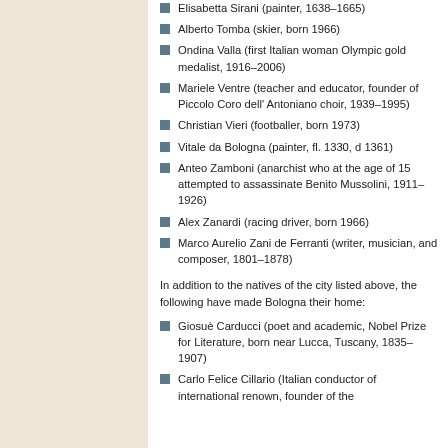Elisabetta Sirani (painter, 1638–1665)
Alberto Tomba (skier, born 1966)
Ondina Valla (first Italian woman Olympic gold medalist, 1916–2006)
Mariele Ventre (teacher and educator, founder of Piccolo Coro dell' Antoniano choir, 1939–1995)
Christian Vieri (footballer, born 1973)
Vitale da Bologna (painter, fl. 1330, d 1361)
Anteo Zamboni (anarchist who at the age of 15 attempted to assassinate Benito Mussolini, 1911–1926)
Alex Zanardi (racing driver, born 1966)
Marco Aurelio Zani de Ferranti (writer, musician, and composer, 1801–1878)
In addition to the natives of the city listed above, the following have made Bologna their home:
Giosuè Carducci (poet and academic, Nobel Prize for Literature, born near Lucca, Tuscany, 1835–1907)
Carlo Felice Cillario (Italian conductor of international renown, founder of the